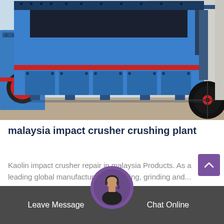[Figure (photo): Large blue industrial impact crusher / crushing plant machine photographed in a warehouse or outdoor facility. Red accent stripe visible on the machine body. Black pulley wheel on the right side. Additional red machinery visible on the left.]
malaysia impact crusher crushing plant
Kaolin impact crusher repair in malaysia Products. As a leading global manufacturer of crushing, grinding and...
Leave Message   Chat Online